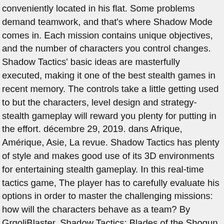conveniently located in his flat. Some problems demand teamwork, and that's where Shadow Mode comes in. Each mission contains unique objectives, and the number of characters you control changes. Shadow Tactics' basic ideas are masterfully executed, making it one of the best stealth games in recent memory. The controls take a little getting used to but the characters, level design and strategy-stealth gameplay will reward you plenty for putting in the effort. décembre 29, 2019. dans Afrique, Amérique, Asie, La revue. Shadow Tactics has plenty of style and makes good use of its 3D environments for entertaining stealth gameplay. In this real-time tactics game, The player has to carefully evaluate his options in order to master the challenging missions: how will the characters behave as a team? By GrgoljBlaster. Shadow Tactics: Blades of the Shogun Review The best way to pay for a lovely moment is to enjoy it. Then, a sound that can only be described as "adorable" inspires one of them to wander off. by Dylan McKenzie. Review Shadow Tactics: Blades of the Shogun. 12. 16. 0. Shadow Tactics: Blades of the Shogun hearkens back to the days of an old PC game that I used